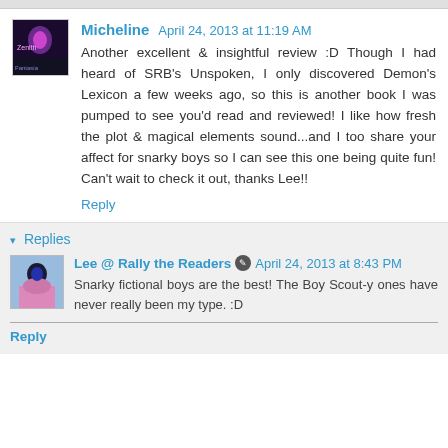Micheline  April 24, 2013 at 11:19 AM
Another excellent & insightful review :D Though I had heard of SRB's Unspoken, I only discovered Demon's Lexicon a few weeks ago, so this is another book I was pumped to see you'd read and reviewed! I like how fresh the plot & magical elements sound...and I too share your affect for snarky boys so I can see this one being quite fun! Can't wait to check it out, thanks Lee!!
Reply
Replies
Lee @ Rally the Readers  April 24, 2013 at 8:43 PM
Snarky fictional boys are the best! The Boy Scout-y ones have never really been my type. :D
Reply